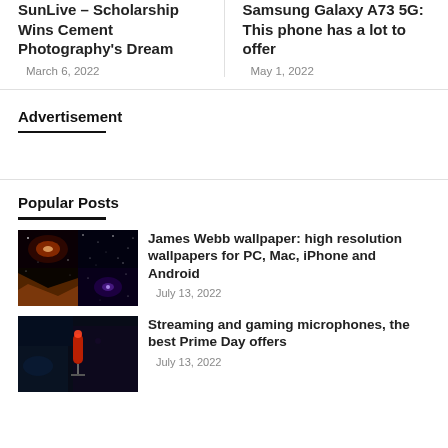SunLive – Scholarship Wins Cement Photography's Dream
March 6, 2022
Samsung Galaxy A73 5G: This phone has a lot to offer
May 1, 2022
Advertisement
Popular Posts
James Webb wallpaper: high resolution wallpapers for PC, Mac, iPhone and Android
July 13, 2022
Streaming and gaming microphones, the best Prime Day offers
July 13, 2022